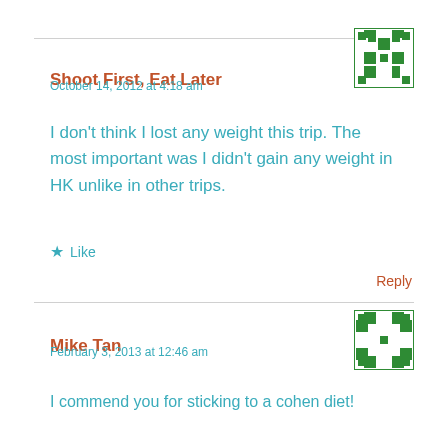Shoot First, Eat Later
October 14, 2012 at 4:18 am
[Figure (illustration): Green geometric mosaic avatar icon]
I don't think I lost any weight this trip. The most important was I didn't gain any weight in HK unlike in other trips.
Like
Reply
Mike Tan
February 3, 2013 at 12:46 am
[Figure (illustration): Green geometric mosaic avatar icon]
I commend you for sticking to a cohen diet!